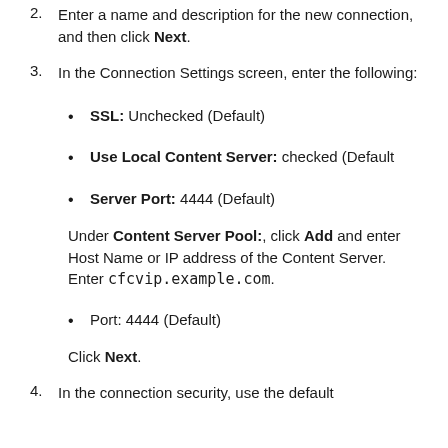2. Enter a name and description for the new connection, and then click Next.
3. In the Connection Settings screen, enter the following:
• SSL: Unchecked (Default)
• Use Local Content Server: checked (Default
• Server Port: 4444 (Default)
Under Content Server Pool:, click Add and enter Host Name or IP address of the Content Server. Enter cfcvip.example.com.
• Port: 4444 (Default)
Click Next.
4. In the connection security, use the default...